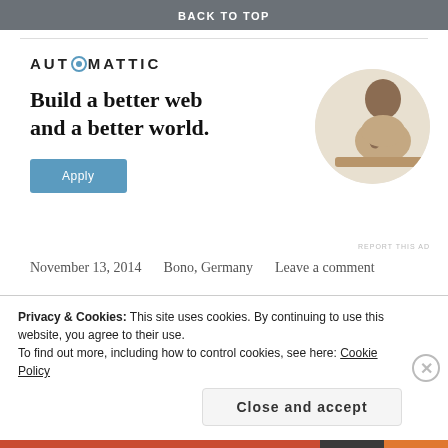Advertisements
BACK TO TOP
[Figure (illustration): Automattic company advertisement with logo, headline 'Build a better web and a better world.', an Apply button, and a circular photo of a man thinking at a desk]
REPORT THIS AD
November 13, 2014    Bono, Germany    Leave a comment
Privacy & Cookies: This site uses cookies. By continuing to use this website, you agree to their use.
To find out more, including how to control cookies, see here: Cookie Policy
Close and accept